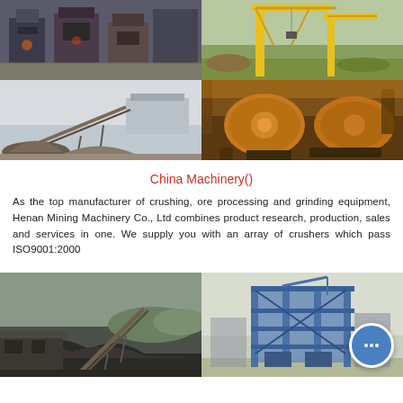[Figure (photo): Grid of four industrial mining machinery photos: top-left shows crusher machines in a factory, top-right shows yellow crane/material handling equipment outdoors, bottom-left shows a large stockpile and conveyor system, bottom-right shows large ball mill grinding equipment.]
China Machinery()
As the top manufacturer of crushing, ore processing and grinding equipment, Henan Mining Machinery Co., Ltd combines product research, production, sales and services in one. We supply you with an array of crushers which pass ISO9001:2000
[Figure (photo): Two side-by-side photos: left shows a conveyor belt system over a coal stockpile, right shows a blue steel industrial processing plant structure with a circular chat bubble icon overlaid in the bottom-right corner.]